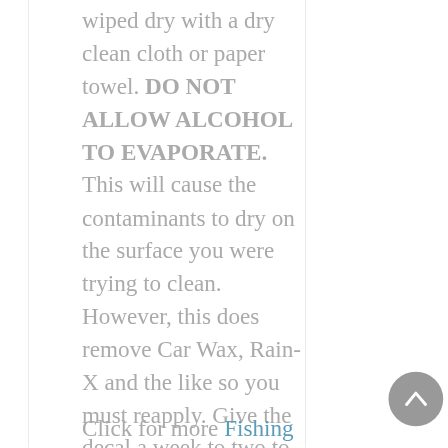wiped dry with a dry clean cloth or paper towel. DO NOT ALLOW ALCOHOL TO EVAPORATE. This will cause the contaminants to dry on the surface you were trying to clean. However, this does remove Car Wax, Rain-X and the like so you must reapply. Give the decal a week to two to fully cure in the sun before doing so.
Click for more Fishing D...